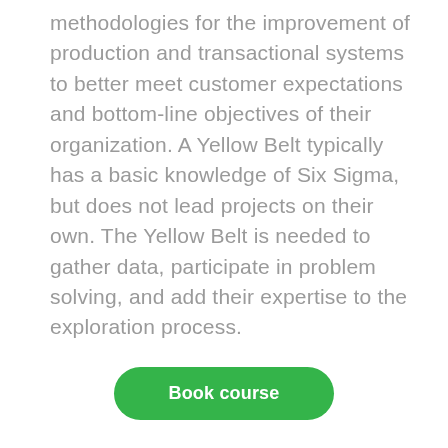methodologies for the improvement of production and transactional systems to better meet customer expectations and bottom-line objectives of their organization. A Yellow Belt typically has a basic knowledge of Six Sigma, but does not lead projects on their own. The Yellow Belt is needed to gather data, participate in problem solving, and add their expertise to the exploration process.
Book course